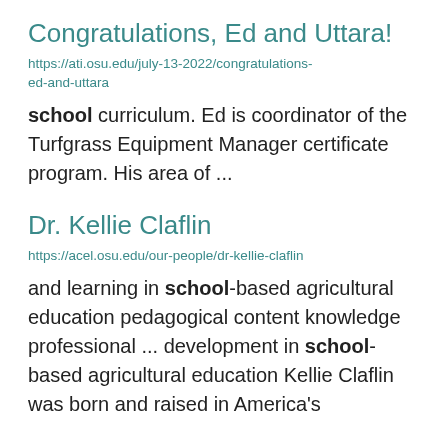Congratulations, Ed and Uttara!
https://ati.osu.edu/july-13-2022/congratulations-ed-and-uttara
school curriculum. Ed is coordinator of the Turfgrass Equipment Manager certificate program. His area of ...
Dr. Kellie Claflin
https://acel.osu.edu/our-people/dr-kellie-claflin
and learning in school-based agricultural education pedagogical content knowledge professional ... development in school-based agricultural education Kellie Claflin was born and raised in America's